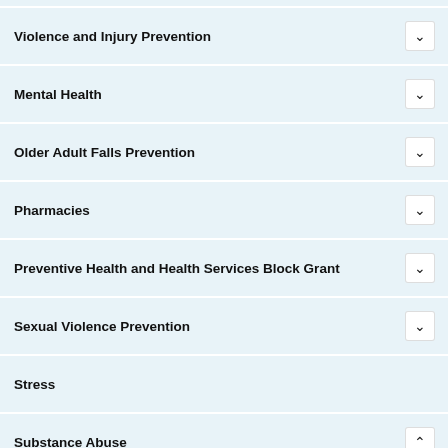Violence and Injury Prevention
Mental Health
Older Adult Falls Prevention
Pharmacies
Preventive Health and Health Services Block Grant
Sexual Violence Prevention
Stress
Substance Abuse
Preconception Health
Substance Abuse During Pregnancy
Suicide Prevention
Tobacco Free Florida